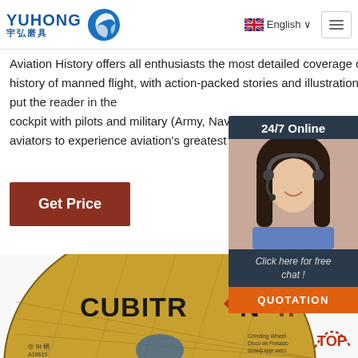[Figure (logo): YUHONG 宇弘磨具 logo with blue wave/circle icon]
English ∨
Aviation History offers all enthusiasts the most detailed coverage of the history of manned flight, with action-packed stories and illustrations that put the reader in the cockpit with pilots and military (Army, Navy, and) aviators to experience aviation's greatest dra
Get Price
[Figure (photo): 24/7 Online customer service representative - woman with headset smiling]
Click here for free chat !
QUOTATION
[Figure (photo): Cubitron II grinding wheel product photo]